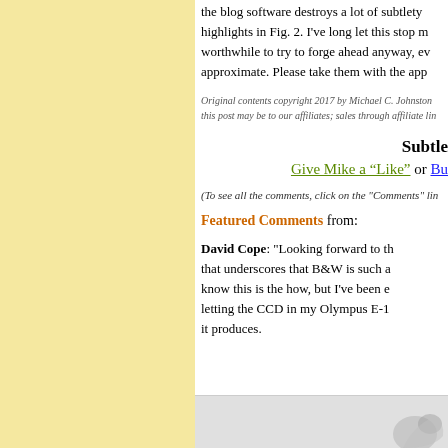the blog software destroys a lot of subtlety highlights in Fig. 2. I've long let this stop m worthwhile to try to forge ahead anyway, ev approximate. Please take them with the app
Original contents copyright 2017 by Michael C. Johnston this post may be to our affiliates; sales through affiliate lin
Subtle
Give Mike a “Like” or Bu
(To see all the comments, click on the "Comments" lin
Featured Comments from:
David Cope: "Looking forward to th that underscores that B&W is such a know this is the how, but I've been e letting the CCD in my Olympus E-1 it produces."
[Figure (photo): Bottom partial image, light gray background with partial bird/logo silhouette visible at right]